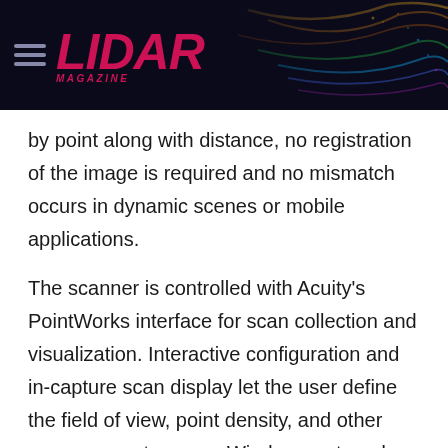LIDAR MAGAZINE
by point along with distance, no registration of the image is required and no mismatch occurs in dynamic scenes or mobile applications.
The scanner is controlled with Acuity's PointWorks interface for scan collection and visualization. Interactive configuration and in-capture scan display let the user define the field of view, point density, and other scan parameters on a Windows notepad or computer connected via a 100Mb ethernet link. Default scan configurations demonstrate the capabilities of the AL-500 and allow users to start collecting useful data immediately. Point clouds may exported in several